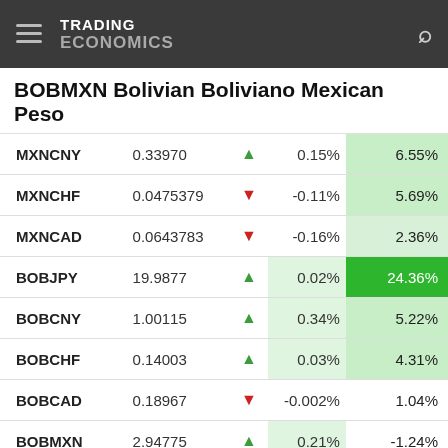TRADING ECONOMICS
BOBMXN Bolivian Boliviano Mexican Peso
| Symbol | Value | Dir | Change% | Yearly% |
| --- | --- | --- | --- | --- |
| MXNCNY | 0.33970 | ▲ | 0.15% | 6.55% |
| MXNCHF | 0.0475379 | ▼ | -0.11% | 5.69% |
| MXNCAD | 0.0643783 | ▼ | -0.16% | 2.36% |
| BOBJPY | 19.9877 | ▲ | 0.02% | 24.36% |
| BOBCNY | 1.00115 | ▲ | 0.34% | 5.22% |
| BOBCHF | 0.14003 | ▲ | 0.03% | 4.31% |
| BOBCAD | 0.18967 | ▼ | -0.002% | 1.04% |
| BOBMXN | 2.94775 | ▲ | 0.21% | -1.24% |
| BOBBRL | 0.75470 | ▼ | -0.10% | -4.14% |